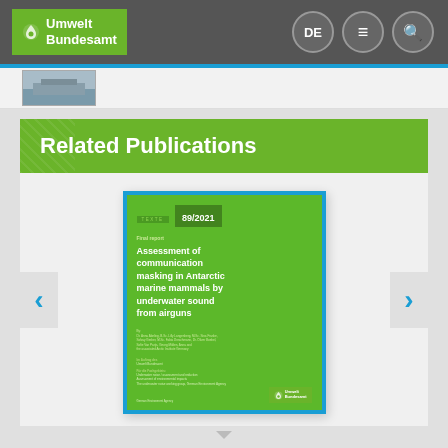[Figure (screenshot): Umwelt Bundesamt website navigation bar with logo, DE language toggle, menu and search icons]
[Figure (photo): Small thumbnail image of a ship/vessel at top of page content]
Related Publications
[Figure (illustration): Book cover of publication 89/2021: 'Assessment of communication masking in Antarctic marine mammals by underwater sound from airguns', Final report, Umwelt Bundesamt (German Environment Agency)]